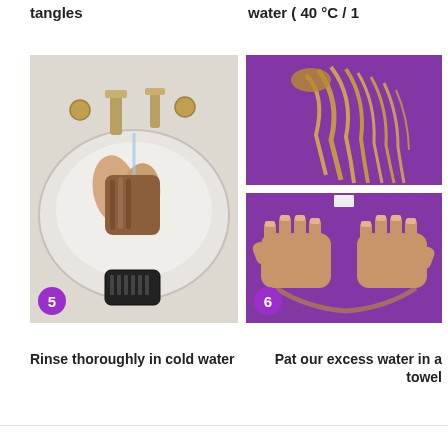tangles
water ( 40 °C / 1
[Figure (photo): Step 5: Hands rinsing a wig/hairpiece in a white sink under running water, with a black silicone brush at the bottom of the sink. Step number 5 badge in purple circle at bottom left.]
[Figure (photo): Step 6 (top): Blonde hair/wig laid flat on a purple towel. Step 6 (bottom): Two hands pressing down on a purple towel wrapped around hair. Step number 6 badge in purple circle.]
Rinse thoroughly in cold water
Pat our excess water in a towel